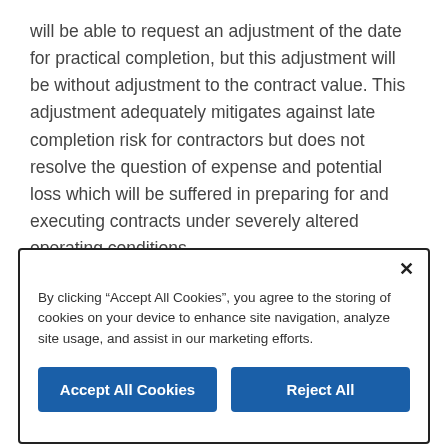will be able to request an adjustment of the date for practical completion, but this adjustment will be without adjustment to the contract value. This adjustment adequately mitigates against late completion risk for contractors but does not resolve the question of expense and potential loss which will be suffered in preparing for and executing contracts under severely altered operating conditions.
“The industry needs to consider seeking middle ground between the parties, with the view to balance the risks
By clicking “Accept All Cookies”, you agree to the storing of cookies on your device to enhance site navigation, analyze site usage, and assist in our marketing efforts.
Accept All Cookies
Reject All